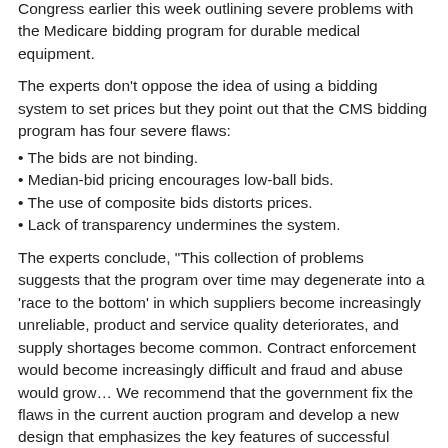Congress earlier this week outlining severe problems with the Medicare bidding program for durable medical equipment.
The experts don’t oppose the idea of using a bidding system to set prices but they point out that the CMS bidding program has four severe flaws:
• The bids are not binding.
• Median-bid pricing encourages low-ball bids.
• The use of composite bids distorts prices.
• Lack of transparency undermines the system.
The experts conclude, “This collection of problems suggests that the program over time may degenerate into a ‘race to the bottom’ in which suppliers become increasingly unreliable, product and service quality deteriorates, and supply shortages become common. Contract enforcement would become increasingly difficult and fraud and abuse would grow… We recommend that the government fix the flaws in the current auction program and develop a new design that emphasizes the key features of successful designs. Implementation of the current design will result in a failure, not cost savings.”